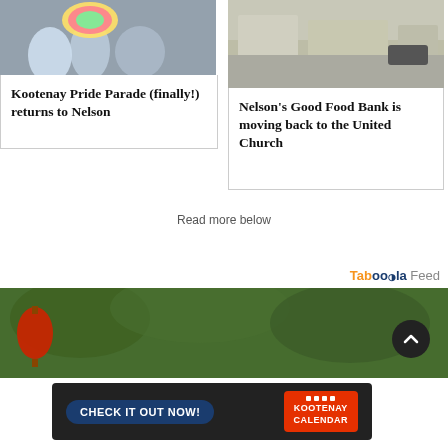[Figure (photo): Photo of Kootenay Pride Parade with colorful fan and crowd]
Kootenay Pride Parade (finally!) returns to Nelson
[Figure (photo): Photo of Nelson street scene with buildings and parked car]
Nelson's Good Food Bank is moving back to the United Church
Read more below
[Figure (logo): Taboola Feed logo]
[Figure (photo): Banner photo of outdoor scene with greenery and red lantern]
[Figure (infographic): Kootenay Calendar advertisement with CHECK IT OUT NOW button]